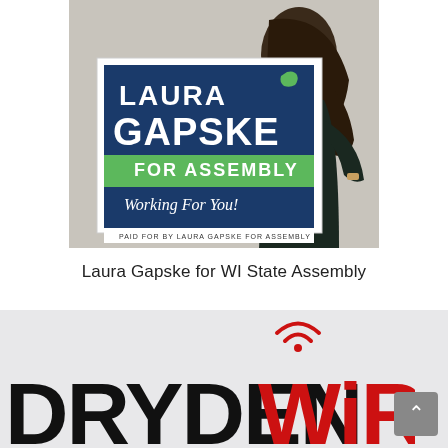[Figure (photo): Campaign sign/banner for Laura Gapske for WI State Assembly, showing a dark navy blue background with 'LAURA GAPSKE' in large white bold text, Wisconsin state outline in green, a green banner reading 'FOR ASSEMBLY', script text 'Working For You!', and small text 'PAID FOR BY LAURA GAPSKE FOR ASSEMBLY'. A woman with long dark hair wearing a dark dress stands behind/beside the sign.]
Laura Gapske for WI State Assembly
[Figure (logo): DrydenWire logo — black bold sans-serif text 'DRYDEN' followed by red bold sans-serif text 'WiRE' with a red wifi/signal icon above the 'i' in 'WiRE'. Partial view, cropped at bottom.]